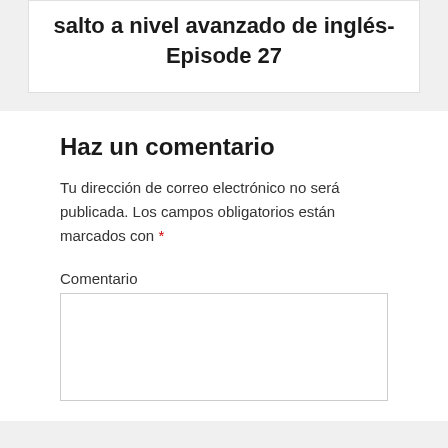salto a nivel avanzado de inglés- Episode 27
Haz un comentario
Tu dirección de correo electrónico no será publicada. Los campos obligatorios están marcados con *
Comentario